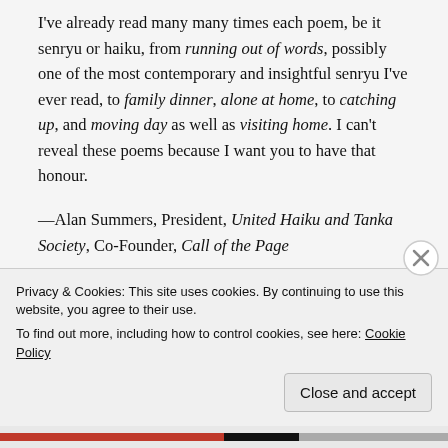I've already read many many times each poem, be it senryu or haiku, from running out of words, possibly one of the most contemporary and insightful senryu I've ever read, to family dinner, alone at home, to catching up, and moving day as well as visiting home. I can't reveal these poems because I want you to have that honour.
—Alan Summers, President, United Haiku and Tanka Society, Co-Founder, Call of the Page
I took the greatest pleasure in reading this collection. Debbi Antebi's poems speak to me. They move me. They please me. She sheds her attachments in the very first poem, and that makes me want to
Privacy & Cookies: This site uses cookies. By continuing to use this website, you agree to their use.
To find out more, including how to control cookies, see here: Cookie Policy
Close and accept